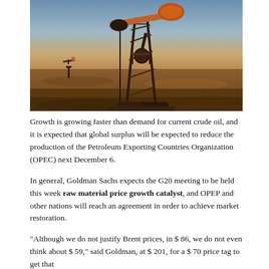[Figure (photo): Oil pump jack (pumpjack) in a desert/arid field at dusk or dawn, with warm orange lighting. A second pump jack is visible in the background on the left. The pump jack is dark silhouette against a blue-orange sky.]
Growth is growing faster than demand for current crude oil, and it is expected that global surplus will be expected to reduce the production of the Petroleum Exporting Countries Organization (OPEC) next December 6.
In general, Goldman Sachs expects the G20 meeting to be held this week raw material price growth catalyst, and OPEP and other nations will reach an agreement in order to achieve market restoration.
"Although we do not justify Brent prices, in $ 86, we do not even think about $ 59," said Goldman, at $ 201, for a $ 70 price tag to get that